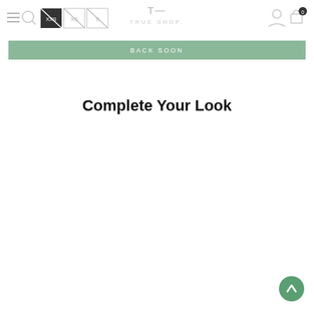[Figure (screenshot): E-commerce website header with hamburger menu, search icon, size filter buttons (XXS selected/crossed out, XS, S), TRUE SHOP logo in center, account and cart icons on right]
[Figure (infographic): Green 'BACK SOON' banner button]
Complete Your Look
[Figure (infographic): Green circular scroll-to-top arrow button]